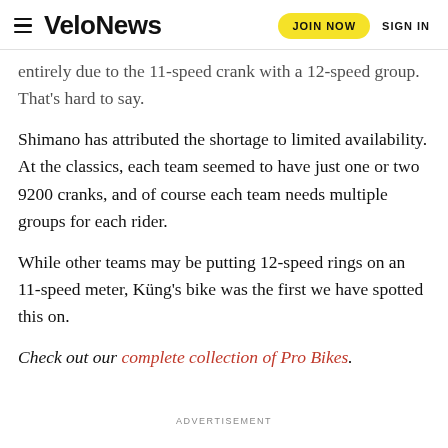VeloNews  JOIN NOW  SIGN IN
entirely due to the 11-speed crank with a 12-speed group. That's hard to say.
Shimano has attributed the shortage to limited availability. At the classics, each team seemed to have just one or two 9200 cranks, and of course each team needs multiple groups for each rider.
While other teams may be putting 12-speed rings on an 11-speed meter, Küng's bike was the first we have spotted this on.
Check out our complete collection of Pro Bikes.
ADVERTISEMENT